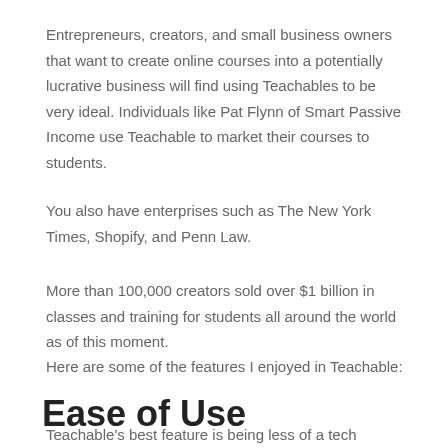Entrepreneurs, creators, and small business owners that want to create online courses into a potentially lucrative business will find using Teachables to be very ideal. Individuals like Pat Flynn of Smart Passive Income use Teachable to market their courses to students.
You also have enterprises such as The New York Times, Shopify, and Penn Law.
More than 100,000 creators sold over $1 billion in classes and training for students all around the world as of this moment.
Here are some of the features I enjoyed in Teachable:
Ease of Use
Teachable's best feature is being less of a tech hassle and more of